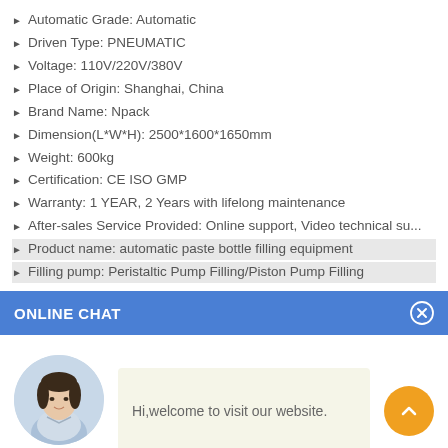Automatic Grade: Automatic
Driven Type: PNEUMATIC
Voltage: 110V/220V/380V
Place of Origin: Shanghai, China
Brand Name: Npack
Dimension(L*W*H): 2500*1600*1650mm
Weight: 600kg
Certification: CE ISO GMP
Warranty: 1 YEAR, 2 Years with lifelong maintenance
After-sales Service Provided: Online support, Video technical su...
Product name: automatic paste bottle filling equipment
Filling pump: Peristaltic Pump Filling/Piston Pump Filling
ONLINE CHAT
[Figure (illustration): Chat panel with avatar photo of a woman named Cilina, a welcome message bubble reading 'Hi,welcome to visit our website.', and an orange scroll-up button.]